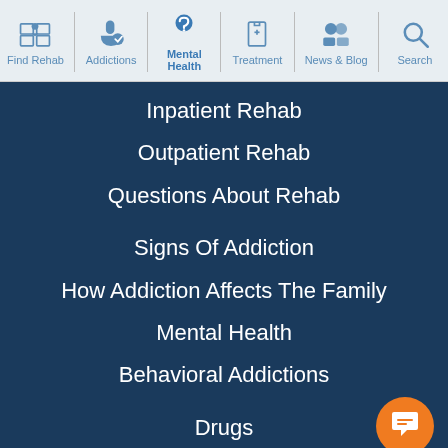Find Rehab | Addictions | Mental Health | Treatment | News & Blog | Search
Inpatient Rehab
Outpatient Rehab
Questions About Rehab
Signs Of Addiction
How Addiction Affects The Family
Mental Health
Behavioral Addictions
Drugs
Call (870) 515-4894
Confidentially speak with a treatment provider